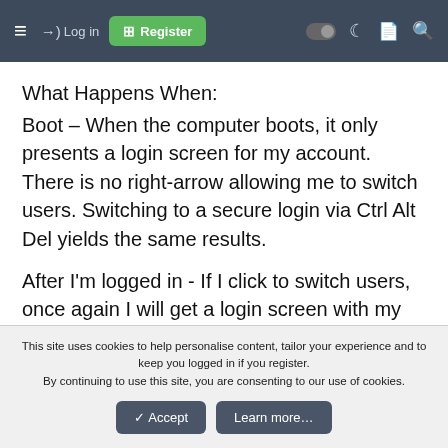≡  →) Log in  ⊞ Register  ● ☾ ☰ 🔍
What Happens When:
Boot – When the computer boots, it only presents a login screen for my account. There is no right-arrow allowing me to switch users. Switching to a secure login via Ctrl Alt Del yields the same results.
After I'm logged in - If I click to switch users, once again I will get a login screen with my account only and no way of switching users. If I wake the computer from
This site uses cookies to help personalise content, tailor your experience and to keep you logged in if you register.
By continuing to use this site, you are consenting to our use of cookies.